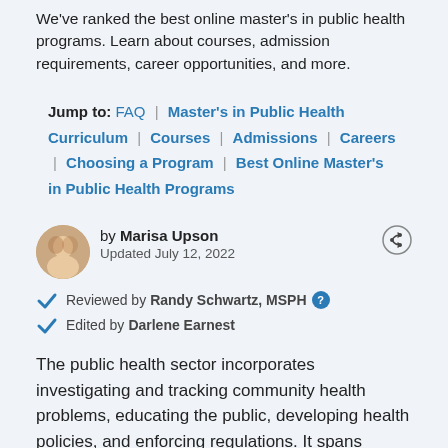We've ranked the best online master's in public health programs. Learn about courses, admission requirements, career opportunities, and more.
Jump to: FAQ | Master's in Public Health Curriculum | Courses | Admissions | Careers | Choosing a Program | Best Online Master's in Public Health Programs
by Marisa Upson
Updated July 12, 2022
Reviewed by Randy Schwartz, MSPH
Edited by Darlene Earnest
The public health sector incorporates investigating and tracking community health problems, educating the public, developing health policies, and enforcing regulations. It spans several disciplines, including